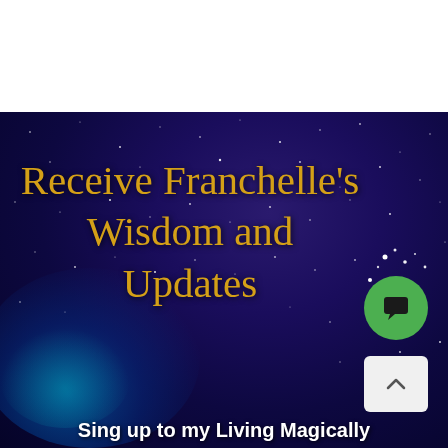[Figure (illustration): White top banner area followed by a deep space/galaxy background with purple and blue nebulae and stars]
Receive Franchelle’s Wisdom and Updates
Sing up to my Living Magically